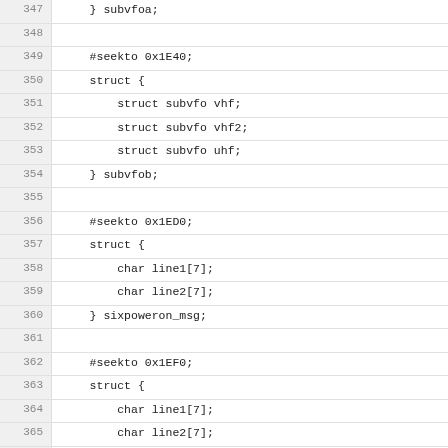347    } subvfoa;
348
349    #seekto 0x1E40;
350    struct {
351        struct subvfo vhf;
352        struct subvfo vhf2;
353        struct subvfo uhf;
354    } subvfob;
355
356    #seekto 0x1ED0;
357    struct {
358        char line1[7];
359        char line2[7];
360    } sixpoweron_msg;
361
362    #seekto 0x1EF0;
363    struct {
364        char line1[7];
365        char line2[7];
366    } firmware_msg;
367
368    struct squelch {
369        u8 sql0;
370        u8 sql1;
371        u8 sql2;
372        u8 sql3;